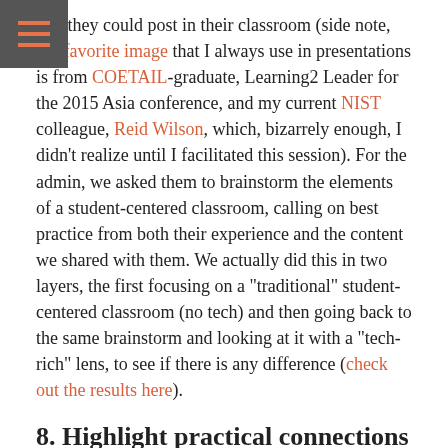that they could post in their classroom (side note, my favorite image that I always use in presentations is from COETAIL-graduate, Learning2 Leader for the 2015 Asia conference, and my current NIST colleague, Reid Wilson, which, bizarrely enough, I didn't realize until I facilitated this session). For the admin, we asked them to brainstorm the elements of a student-centered classroom, calling on best practice from both their experience and the content we shared with them. We actually did this in two layers, the first focusing on a "traditional" student-centered classroom (no tech) and then going back to the same brainstorm and looking at it with a "tech-rich" lens, to see if there is any difference (check out the results here).
8. Highlight practical connections to everyday work
For the teachers, we had them brainstorm phrases or strategies that they can use to bring a growth mindset